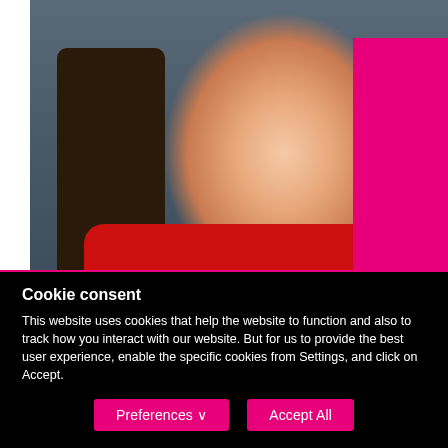[Figure (photo): A woman wearing a Santa hat with a stressed/angry facial expression, wearing a red scarf, with a pink rectangle decorative element in the upper right]
Reduce Your Stress Levels In The
Cookie consent
This website uses cookies that help the website to function and also to track how you interact with our website. But for us to provide the best user experience, enable the specific cookies from Settings, and click on Accept.
Preferences ∨   Accept All